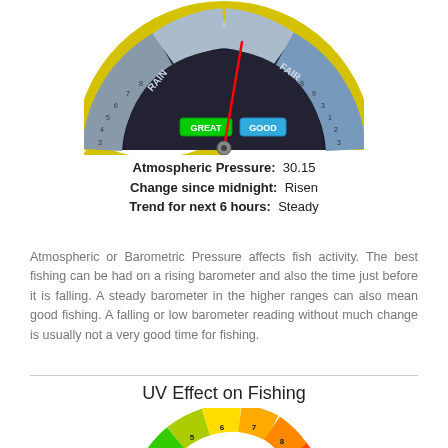[Figure (infographic): Fishing Barometer gauge dial showing RAIN, GREAT, GOOD, FAIR zones with a red needle pointing slightly right of center. Yellow outer ring with pressure numbers. Black background with colored sections.]
Atmospheric Pressure:  30.15
Change since midnight:  Risen
Trend for next 6 hours:  Steady
Atmospheric or Barometric Pressure affects fish activity. The best fishing can be had on a rising barometer and also the time just before it is falling. A steady barometer in the higher ranges can also mean good fishing. A falling or low barometer reading without much change is usually not a very good time for fishing.
UV Effect on Fishing
[Figure (infographic): UV index semicircular dial showing numbers 2 through 11, with colored segments from green (low) to yellow, orange, red, purple (extreme). Inner rings labeled 'deeper water', 'very deep', 'shallow water'. Bottom has orange sun spike decorations.]